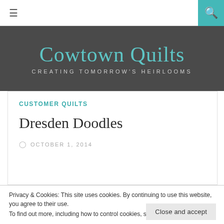≡  [search icon]
Cowtown Quilts
CREATING TOMORROW'S HEIRLOOMS
CUSTOMER QUILTS
Dresden Doodles
OCTOBER 1, 2014
Privacy & Cookies: This site uses cookies. By continuing to use this website, you agree to their use. To find out more, including how to control cookies, see here: Cookie Policy
Close and accept